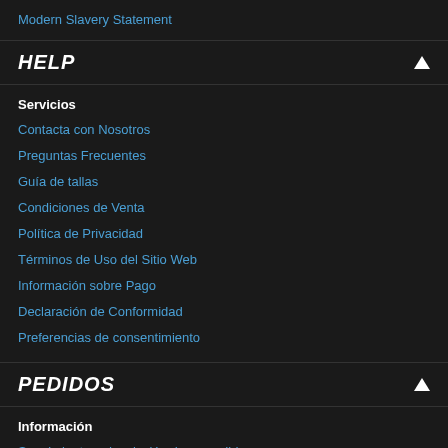Modern Slavery Statement
HELP
Servicios
Contacta con Nosotros
Preguntas Frecuentes
Guía de tallas
Condiciones de Venta
Política de Privacidad
Términos de Uso del Sitio Web
Información sobre Pago
Declaración de Conformidad
Preferencias de consentimiento
PEDIDOS
Información
Seguimiento o devolución de un pedido